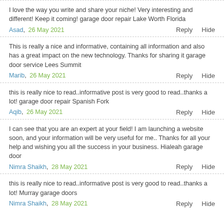I love the way you write and share your niche! Very interesting and different! Keep it coming! garage door repair Lake Worth Florida
Asad, 26 May 2021   Reply   Hide
This is really a nice and informative, containing all information and also has a great impact on the new technology. Thanks for sharing it garage door service Lees Summit
Marib, 26 May 2021   Reply   Hide
this is really nice to read..informative post is very good to read..thanks a lot! garage door repair Spanish Fork
Aqib, 26 May 2021   Reply   Hide
I can see that you are an expert at your field! I am launching a website soon, and your information will be very useful for me.. Thanks for all your help and wishing you all the success in your business. Hialeah garage door
Nimra Shaikh, 28 May 2021   Reply   Hide
this is really nice to read..informative post is very good to read..thanks a lot! Murray garage doors
Nimra Shaikh, 28 May 2021   Reply   Hide